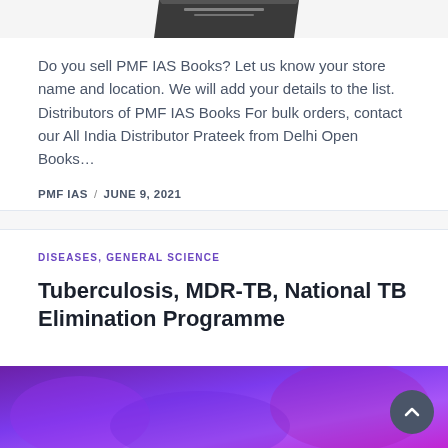[Figure (photo): Partial top view of a book cover (PMF IAS book), cropped at the top of the page]
Do you sell PMF IAS Books? Let us know your store name and location. We will add your details to the list. Distributors of PMF IAS Books For bulk orders, contact our All India Distributor Prateek from Delhi Open Books…
PMF IAS / JUNE 9, 2021
DISEASES, GENERAL SCIENCE
Tuberculosis, MDR-TB, National TB Elimination Programme
[Figure (photo): Purple/violet colored medical or science themed image strip at the bottom of the page]